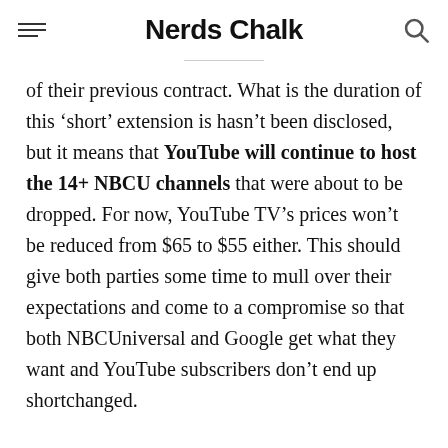Nerds Chalk
of their previous contract. What is the duration of this ‘short’ extension is hasn’t been disclosed, but it means that YouTube will continue to host the 14+ NBCU channels that were about to be dropped. For now, YouTube TV’s prices won’t be reduced from $65 to $55 either. This should give both parties some time to mull over their expectations and come to a compromise so that both NBCUniversal and Google get what they want and YouTube subscribers don’t end up shortchanged.
YouTube TV is one of the more important